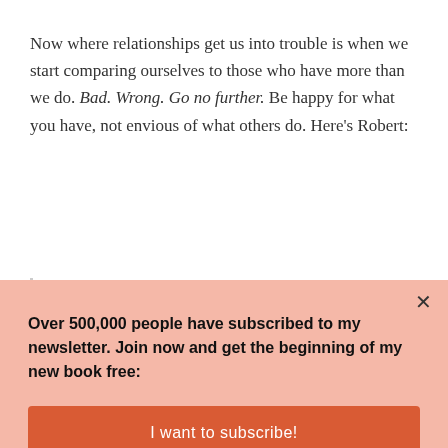Now where relationships get us into trouble is when we start comparing ourselves to those who have more than we do. Bad. Wrong. Go no further. Be happy for what you have, not envious of what others do. Here's Robert:
If you get locked into that “keeping-up-with-the-
Over 500,000 people have subscribed to my newsletter. Join now and get the beginning of my new book free:
I want to subscribe!